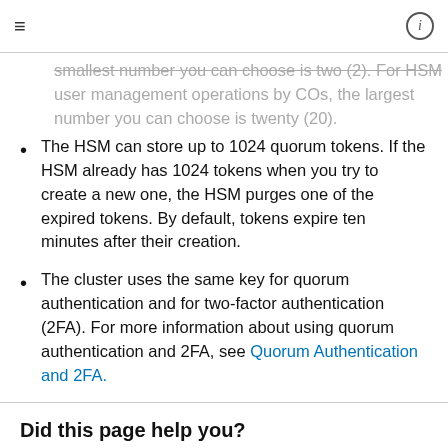≡   [i]
smallest number you can choose is two (2). For HSM user management operations by COs, the largest number you can choose is twenty (20).
The HSM can store up to 1024 quorum tokens. If the HSM already has 1024 tokens when you try to create a new one, the HSM purges one of the expired tokens. By default, tokens expire ten minutes after their creation.
The cluster uses the same key for quorum authentication and for two-factor authentication (2FA). For more information about using quorum authentication and 2FA, see Quorum Authentication and 2FA.
Did this page help you?